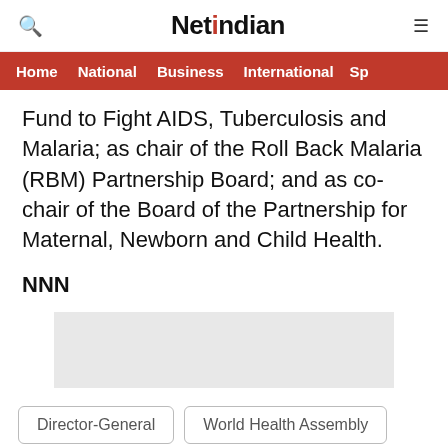NetIndian
Home  National  Business  International  Sp
Fund to Fight AIDS, Tuberculosis and Malaria; as chair of the Roll Back Malaria (RBM) Partnership Board; and as co-chair of the Board of the Partnership for Maternal, Newborn and Child Health.
NNN
[Figure (other): Advertisement placeholder box (gray rectangle)]
Director-General
World Health Assembly
Tedros Adhanom Ghebreyesus